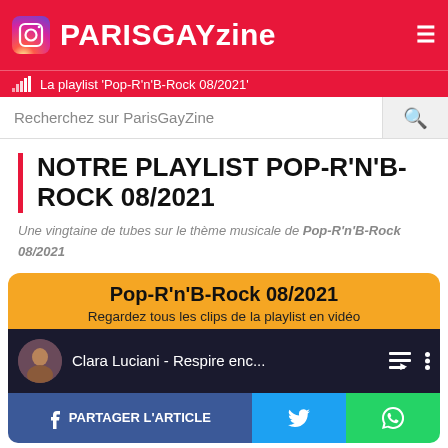PARISGAYzine
La playlist 'Pop-R'n'B-Rock 08/2021'
Recherchez sur ParisGayZine
NOTRE PLAYLIST POP-R'N'B-ROCK 08/2021
Une vingtaine de tubes sur le thème musicale de Pop-R'n'B-Rock
08/2021
Pop-R'n'B-Rock 08/2021
Regardez tous les clips de la playlist en vidéo
Clara Luciani - Respire enc...
PARTAGER L'ARTICLE